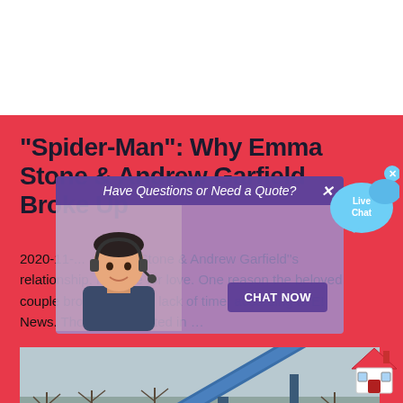"Spider-Man": Why Emma Stone & Andrew Garfield Broke Up
2020-11-... Emma Stone & Andrew Garfield''s relationship. No time for love. One reason the beloved couple broke up was a lack of time, according to E! News. Though they acted in …
[Figure (photo): Industrial machinery / conveyor belt in a field with bare trees in background]
[Figure (screenshot): Live chat popup overlay with person wearing headset and purple 'Have Questions or Need a Quote?' header and 'CHAT NOW' button]
[Figure (illustration): Live Chat speech bubble icon with blue chat bubbles, top right corner]
[Figure (illustration): House/home icon, bottom right corner]